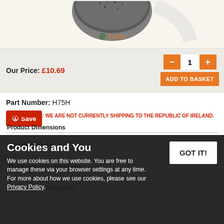[Figure (photo): Product image of a small round dark metallic object, partially cropped at top]
Zoom
Our Price:  £10.69
1
ADD TO BASKET
Part Number:  H75H
Save
Product Info
Delivery Information
Customer Reviews
PLEASE NOTE: WE ARE NOT CURRENTLY SHIPPING TO THE REPUBLIC OF IRELAND.
Product Dimensions
Cookies and You
We use cookies on this website. You are free to manage these via your browser settings at any time. For more about how we use cookies, please see our Privacy Policy.
GOT IT!